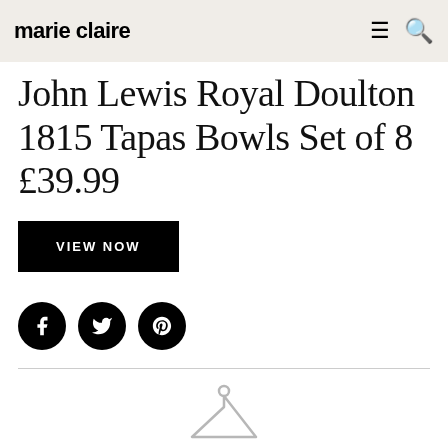marie claire
John Lewis Royal Doulton 1815 Tapas Bowls Set of 8 £39.99
VIEW NOW
[Figure (other): Three social media icon circles: Facebook, Twitter, Pinterest]
[Figure (other): Partial clothing hanger icon at bottom of page]